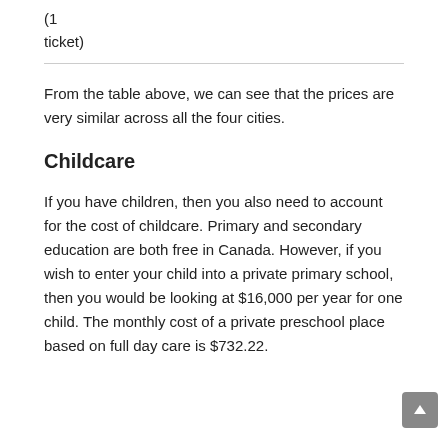(1 ticket)
From the table above, we can see that the prices are very similar across all the four cities.
Childcare
If you have children, then you also need to account for the cost of childcare. Primary and secondary education are both free in Canada. However, if you wish to enter your child into a private primary school, then you would be looking at $16,000 per year for one child. The monthly cost of a private preschool place based on full day care is $732.22.